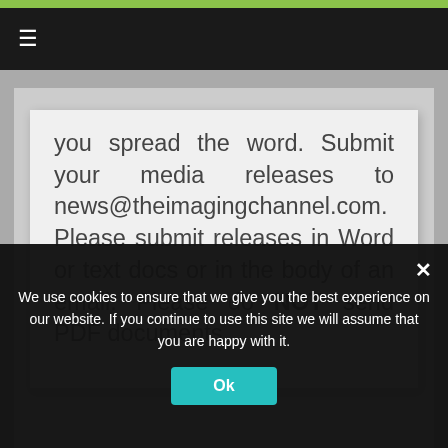≡
you spread the word. Submit your media releases to news@theimagingchannel.com. Please submit releases in Word or text docs or in the body of an email. Please do NOT send PDF documents.
← ConnectWise Welcomes Todd Hale and
We use cookies to ensure that we give you the best experience on our website. If you continue to use this site we will assume that you are happy with it.
Ok